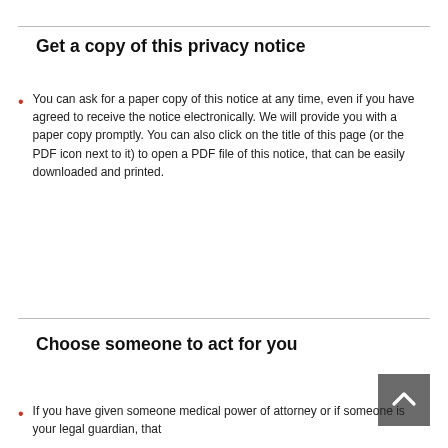Get a copy of this privacy notice
You can ask for a paper copy of this notice at any time, even if you have agreed to receive the notice electronically. We will provide you with a paper copy promptly. You can also click on the title of this page (or the PDF icon next to it) to open a PDF file of this notice, that can be easily downloaded and printed.
Choose someone to act for you
If you have given someone medical power of attorney or if someone is your legal guardian, that